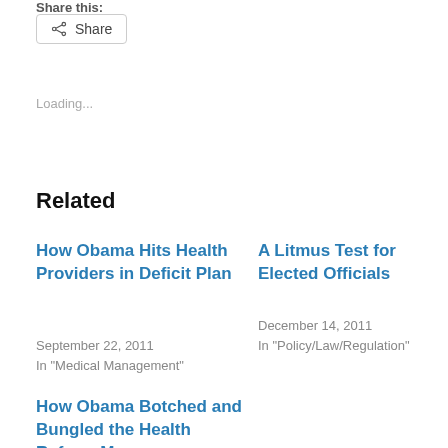Share this:
Share
Loading...
Related
How Obama Hits Health Providers in Deficit Plan
September 22, 2011
In "Medical Management"
A Litmus Test for Elected Officials
December 14, 2011
In "Policy/Law/Regulation"
How Obama Botched and Bungled the Health Reform Message